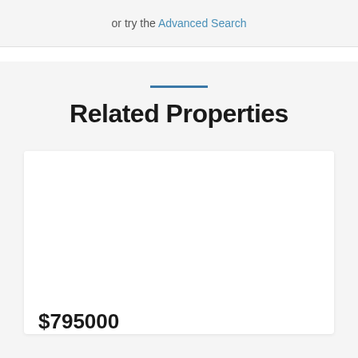or try the Advanced Search
Related Properties
$795000